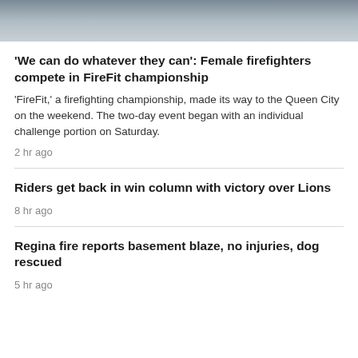[Figure (photo): Partial view of people in navy blue shirts and shorts, cropped at torso level, standing outdoors on a paved surface.]
'We can do whatever they can': Female firefighters compete in FireFit championship
'FireFit,' a firefighting championship, made its way to the Queen City on the weekend. The two-day event began with an individual challenge portion on Saturday.
2 hr ago
Riders get back in win column with victory over Lions
8 hr ago
Regina fire reports basement blaze, no injuries, dog rescued
5 hr ago